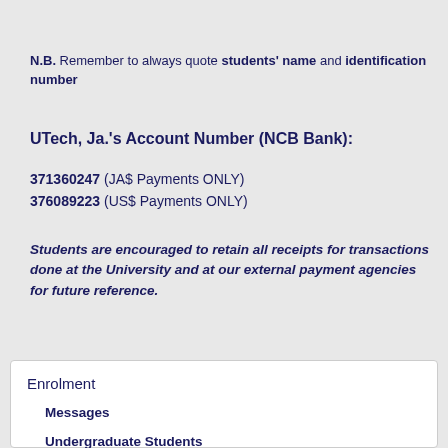N.B. Remember to always quote students' name and identification number
UTech, Ja.'s Account Number (NCB Bank):
371360247 (JA$ Payments ONLY)
376089223 (US$ Payments ONLY)
Students are encouraged to retain all receipts for transactions done at the University and at our external payment agencies for future reference.
Enrolment
Messages
Undergraduate Students
Graduate Students